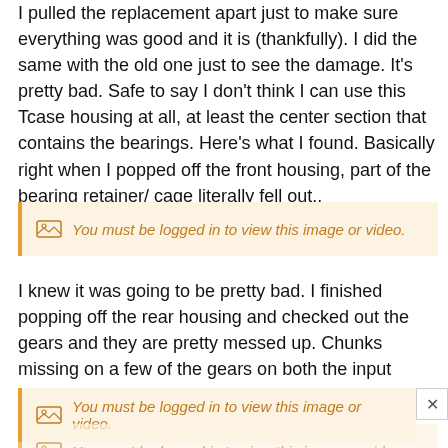I pulled the replacement apart just to make sure everything was good and it is (thankfully). I did the same with the old one just to see the damage. It's pretty bad. Safe to say I don't think I can use this Tcase housing at all, at least the center section that contains the bearings. Here's what I found. Basically right when I popped off the front housing, part of the bearing retainer/ cage literally fell out..
[Figure (other): Login-gated media placeholder: 'You must be logged in to view this image or video.']
I knew it was going to be pretty bad. I finished popping off the rear housing and checked out the gears and they are pretty messed up. Chunks missing on a few of the gears on both the input shaft, and coupler for the trans.
[Figure (other): Login-gated media placeholder with close button: 'You must be logged in to view this image or video.']
[Figure (other): Login-gated media placeholder (partially visible): 'You must be logged in to view this image or video.']